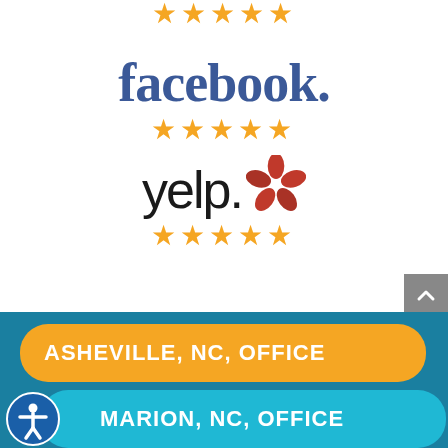[Figure (other): Five gold stars rating row at top of page]
[Figure (logo): Facebook logo in blue with five gold stars below]
[Figure (logo): Yelp logo in black with red burst icon and five gold stars below]
ASHEVILLE, NC, OFFICE
MARION, NC, OFFICE